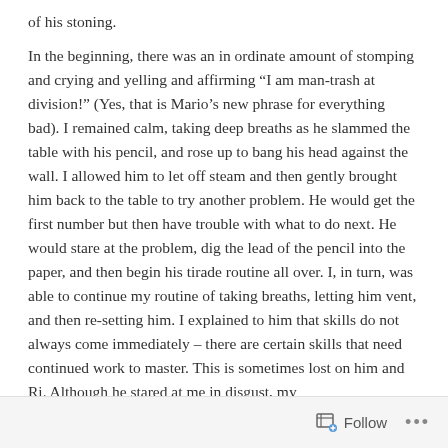of his stoning.
In the beginning, there was an in ordinate amount of stomping and crying and yelling and affirming “I am man-trash at division!” (Yes, that is Mario’s new phrase for everything bad). I remained calm, taking deep breaths as he slammed the table with his pencil, and rose up to bang his head against the wall. I allowed him to let off steam and then gently brought him back to the table to try another problem. He would get the first number but then have trouble with what to do next. He would stare at the problem, dig the lead of the pencil into the paper, and then begin his tirade routine all over. I, in turn, was able to continue my routine of taking breaths, letting him vent, and then re-setting him. I explained to him that skills do not always come immediately – there are certain skills that need continued work to master. This is sometimes lost on him and Ri. Although he stared at me in disgust, my
Follow ...